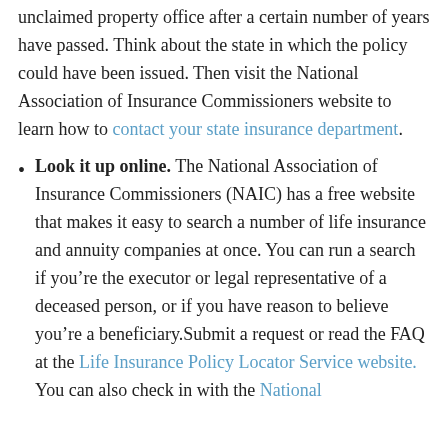unclaimed property office after a certain number of years have passed. Think about the state in which the policy could have been issued. Then visit the National Association of Insurance Commissioners website to learn how to contact your state insurance department.
Look it up online. The National Association of Insurance Commissioners (NAIC) has a free website that makes it easy to search a number of life insurance and annuity companies at once. You can run a search if you're the executor or legal representative of a deceased person, or if you have reason to believe you're a beneficiary.Submit a request or read the FAQ at the Life Insurance Policy Locator Service website. You can also check in with the National